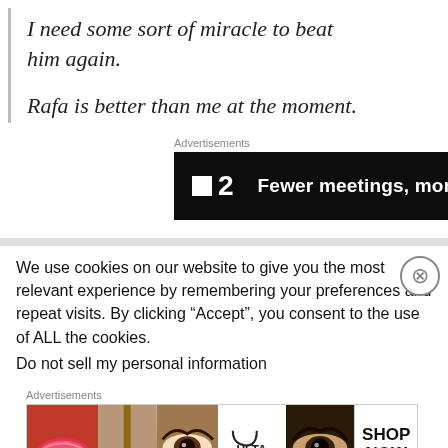I need some sort of miracle to beat him again.
Rafa is better than me at the moment.
[Figure (other): Advertisement banner: dark background with P2 logo and text 'Fewer meetings, more work.']
We use cookies on our website to give you the most relevant experience by remembering your preferences and repeat visits. By clicking “Accept”, you consent to the use of ALL the cookies.
Do not sell my personal information
[Figure (other): Advertisement banner: Ulta Beauty cosmetics ad with images of lips, makeup brush, eyes, Ulta logo, and 'SHOP NOW' text.]